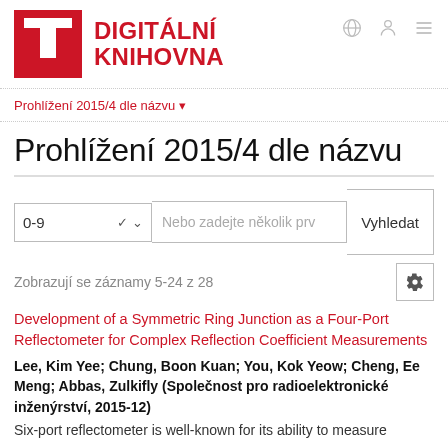[Figure (logo): Digitální Knihovna logo: red square with white T-shape, red bold text DIGITÁLNÍ KNIHOVNA]
Prohlížení 2015/4 dle názvu ▾
Prohlížení 2015/4 dle názvu
Zobrazují se záznamy 5-24 z 28
Development of a Symmetric Ring Junction as a Four-Port Reflectometer for Complex Reflection Coefficient Measurements
Lee, Kim Yee; Chung, Boon Kuan; You, Kok Yeow; Cheng, Ee Meng; Abbas, Zulkifly (Společnost pro radioelektronické inženýrství, 2015-12)
Six-port reflectometer is well-known for its ability to measure